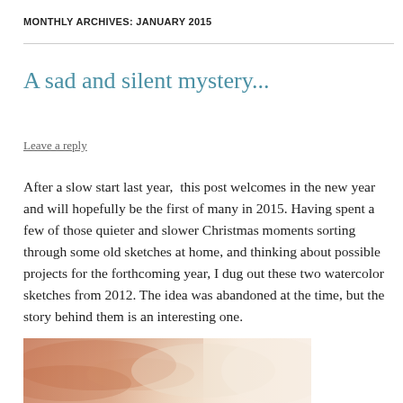MONTHLY ARCHIVES: JANUARY 2015
A sad and silent mystery...
Leave a reply
After a slow start last year,  this post welcomes in the new year and will hopefully be the first of many in 2015. Having spent a few of those quieter and slower Christmas moments sorting through some old sketches at home, and thinking about possible projects for the forthcoming year, I dug out these two watercolor sketches from 2012. The idea was abandoned at the time, but the story behind them is an interesting one.
[Figure (photo): A watercolor sketch with warm peachy-orange and cream tones, partially visible at the bottom of the page.]